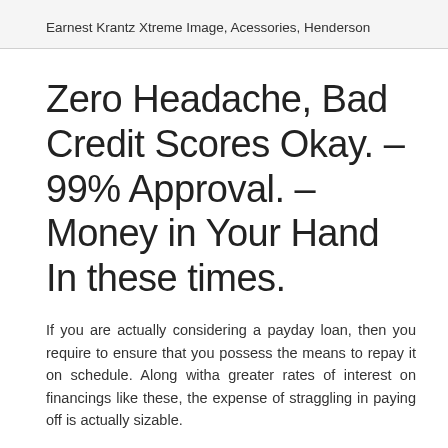Earnest Krantz Xtreme Image, Acessories, Henderson
Zero Headache, Bad Credit Scores Okay. – 99% Approval. – Money in Your Hand In these times.
If you are actually considering a payday loan, then you require to ensure that you possess the means to repay it on schedule. Along witha greater rates of interest on financings like these, the expense of straggling in paying off is actually sizable.
When you are thinking of receiving a cashadvance you need to